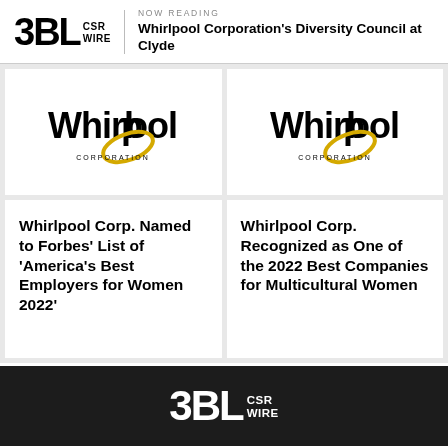3BL CSR WIRE | NOW READING: Whirlpool Corporation's Diversity Council at Clyde
[Figure (logo): Whirlpool Corporation logo - black text 'Whirlpool' with gold swirl, 'CORPORATION' below]
[Figure (logo): Whirlpool Corporation logo - black text 'Whirlpool' with gold swirl, 'CORPORATION' below]
Whirlpool Corp. Named to Forbes' List of 'America's Best Employers for Women 2022'
Whirlpool Corp. Recognized as One of the 2022 Best Companies for Multicultural Women
3BL CSR WIRE